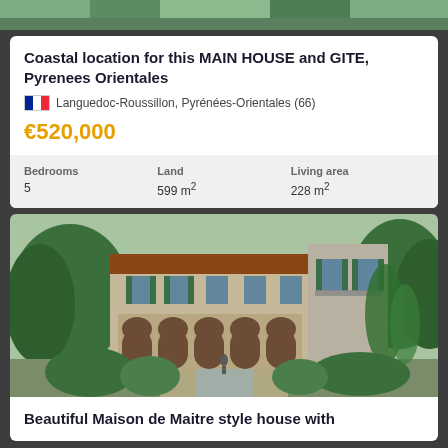[Figure (photo): Top partial image showing greenery/landscape]
Coastal location for this MAIN HOUSE and GITE, Pyrenees Orientales
Languedoc-Roussillon, Pyrénées-Orientales (66)
€520,000
| Bedrooms | Land | Living area |
| --- | --- | --- |
| 5 | 599 m² | 228 m² |
[Figure (photo): Stone Maison de Maitre style house with arched loggia, green shutters, surrounded by trees and gardens]
Beautiful Maison de Maitre style house with